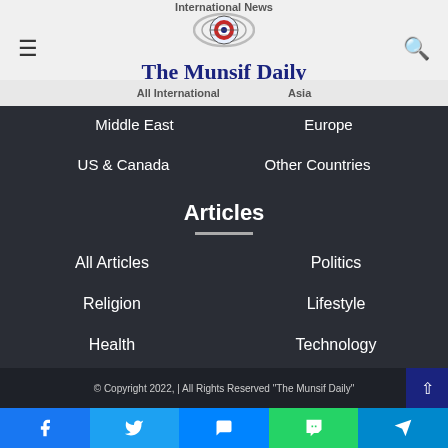International News
[Figure (logo): The Munsif Daily logo with globe/eye emblem]
All International  |  Asia
Middle East
Europe
US & Canada
Other Countries
Articles
All Articles
Politics
Religion
Lifestyle
Health
Technology
© Copyright 2022,  |  All Rights Reserved "The Munsif Daily"